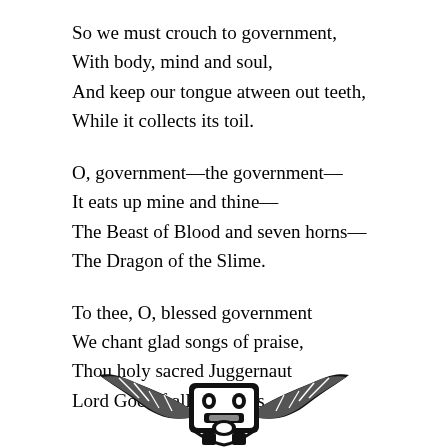So we must crouch to government,
With body, mind and soul,
And keep our tongue atween out teeth,
While it collects its toil.
O, government—the government—
It eats up mine and thine—
The Beast of Blood and seven horns—
The Dragon of the Slime.
To thee, O, blessed government
We chant glad songs of praise,
Thou holy sacred Juggernaut
Lord God of all our ways.
[Figure (illustration): Black and white woodcut or engraving illustration of a decorative beast or dragon-like creature, partially visible at the bottom of the page, showing wings or feathered/leafy elements in a symmetrical design.]